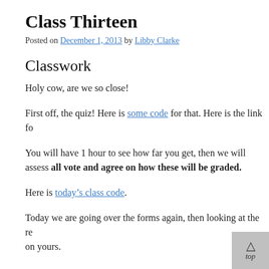Class Thirteen
Posted on December 1, 2013 by Libby Clarke
Classwork
Holy cow, are we so close!
First off, the quiz! Here is some code for that. Here is the link fo
You will have 1 hour to see how far you get, then we will assess all vote and agree on how these will be graded.
Here is today’s class code.
Today we are going over the forms again, then looking at the re on yours.
Homework